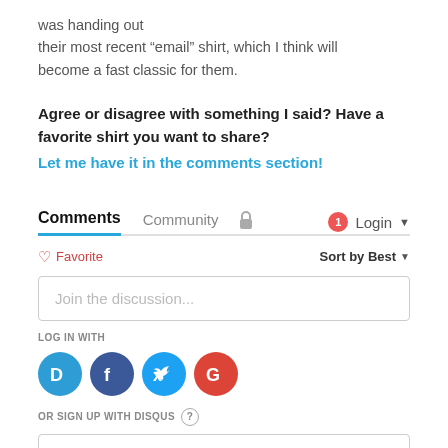was handing out their most recent “email” shirt, which I think will become a fast classic for them.
Agree or disagree with something I said? Have a favorite shirt you want to share? Let me have it in the comments section!
[Figure (screenshot): Disqus comments widget showing Comments and Community tabs, Favorite button, Sort by Best, Join the discussion input, LOG IN WITH social buttons (Disqus, Facebook, Twitter, Google), and OR SIGN UP WITH DISQUS option]
LOG IN WITH
OR SIGN UP WITH DISQUS ?